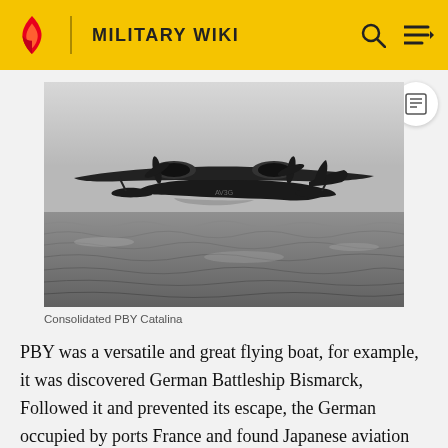MILITARY WIKI
[Figure (photo): Black and white photograph of a Consolidated PBY Catalina flying boat skimming low over choppy ocean water, with twin engines visible on the parasol wing and floats at the wingtips.]
Consolidated PBY Catalina
PBY was a versatile and great flying boat, for example, it was discovered German Battleship Bismarck, Followed it and prevented its escape, the German occupied by ports France and found Japanese aviation support ships in the Battle of Midway.